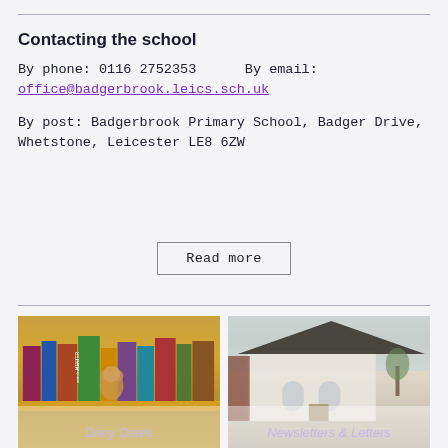Contacting the school
By phone: 0116 2752353      By email:
office@badgerbrook.leics.sch.uk
By post: Badgerbrook Primary School, Badger Drive, Whetstone, Leicester LE8 6ZW
Read more
[Figure (photo): Bookshelf with children's books including Winter Wonderland, Bam, and other titles. Caption: Diary Dates]
Diary Dates
[Figure (photo): Exterior of Badgerbrook Primary School building, a white building with arched windows. Caption: Newsletters & Letters]
Newsletters & Letters